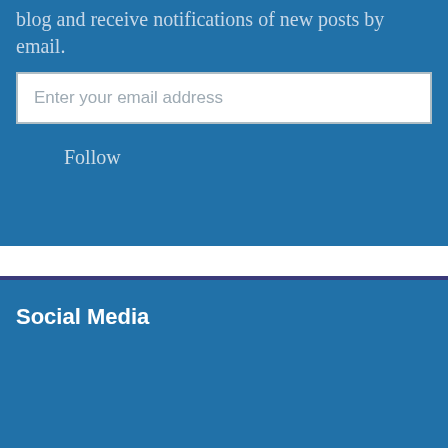blog and receive notifications of new posts by email.
Enter your email address
Follow
Social Media